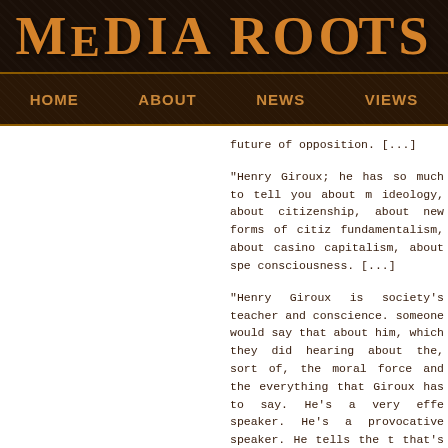MEDIA ROOTS
HOME   ABOUT   NEWS   VIEWS
future of opposition. [...]
“Henry Giroux; he has so much to tell you about m ideology, about citizenship, about new forms of citiz fundamentalism, about casino capitalism, about spe consciousness. [...]
“Henry Giroux is society’s teacher and conscience. someone would say that about him, which they did hearing about the, sort of, the moral force and the everything that Giroux has to say. He’s a very effe speaker. He’s a provocative speaker. He tells the t that’s what KPFA is all about. [...]
“We return now to more of Henry Giroux, Professo talk at Eastern Michigan University.”